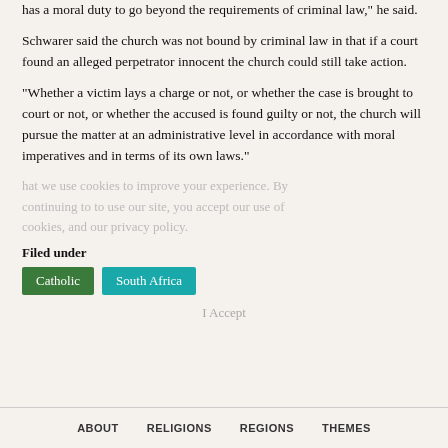has a moral duty to go beyond the requirements of criminal law," he said.
Schwarer said the church was not bound by criminal law in that if a court found an alleged perpetrator innocent the church could still take action.
"Whether a victim lays a charge or not, or whether the case is brought to court or not, or whether the accused is found guilty or not, the church will pursue the matter at an administrative level in accordance with moral imperatives and in terms of its own laws."
Filed under
Catholic
South Africa
ABOUT   RELIGIONS   REGIONS   THEMES